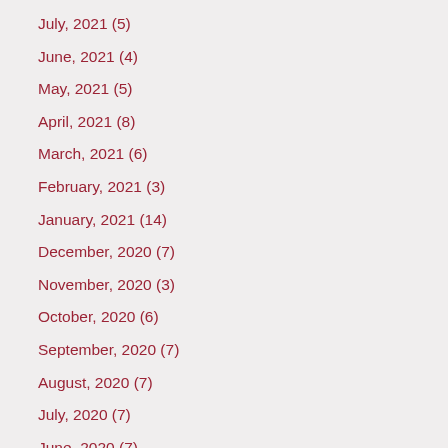July, 2021  (5)
June, 2021  (4)
May, 2021  (5)
April, 2021  (8)
March, 2021  (6)
February, 2021  (3)
January, 2021  (14)
December, 2020  (7)
November, 2020  (3)
October, 2020  (6)
September, 2020  (7)
August, 2020  (7)
July, 2020  (7)
June, 2020  (7)
May, 2020  (4)